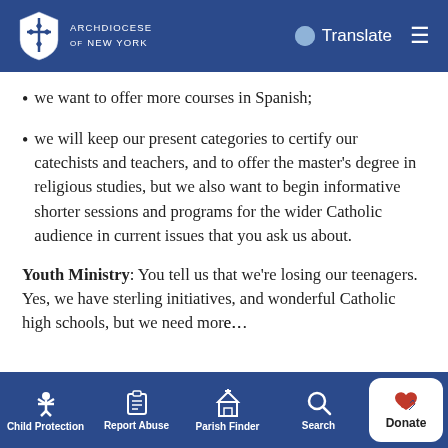Archdiocese of New York — Translate / Menu
we want to offer more courses in Spanish;
we will keep our present categories to certify our catechists and teachers, and to offer the master's degree in religious studies, but we also want to begin informative shorter sessions and programs for the wider Catholic audience in current issues that you ask us about.
Youth Ministry: You tell us that we're losing our teenagers. Yes, we have sterling initiatives, and wonderful Catholic high schools, but we need more…
Child Protection | Report Abuse | Parish Finder | Search | Donate